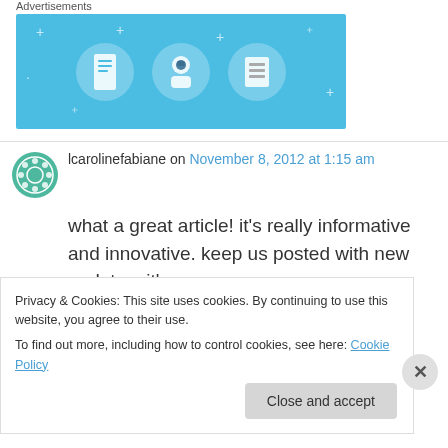Advertisements
[Figure (illustration): Advertisement banner with light blue background showing three circular icons: a document/door icon, a person/avatar icon, and a list/table icon, with small sparkle/star decorations.]
lcarolinefabiane on November 8, 2012 at 1:15 am
what a great article! it’s really informative and innovative. keep us posted with new updates. it’s
Privacy & Cookies: This site uses cookies. By continuing to use this website, you agree to their use.
To find out more, including how to control cookies, see here: Cookie Policy
Close and accept